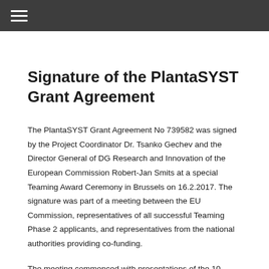☰
Signature of the PlantaSYST Grant Agreement
The PlantaSYST Grant Agreement No 739582 was signed by the Project Coordinator Dr. Tsanko Gechev and the Director General of DG Research and Innovation of the European Commission Robert-Jan Smits at a special Teaming Award Ceremony in Brussels on 16.2.2017. The signature was part of a meeting between the EU Commission, representatives of all successful Teaming Phase 2 applicants, and representatives from the national authorities providing co-funding.
The meeting commenced with presentations of the 10 Teaming projects by the project coordinators.